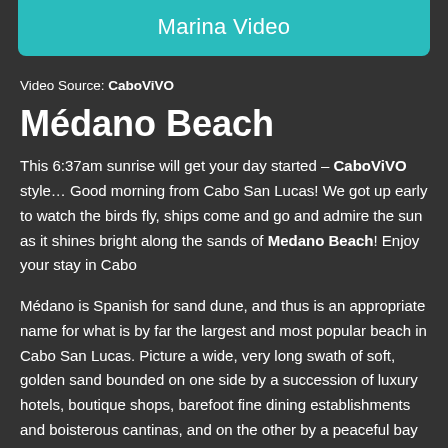Marina Video
Video Source: CaboViVO
Médano Beach
This 6:37am sunrise will get your day started – CaboViVO style… Good morning from Cabo San Lucas! We got up early to watch the birds fly, ships come and go and admire the sun as it shines bright along the sands of Medano Beach! Enjoy your stay in Cabo
Médano is Spanish for sand dune, and thus is an appropriate name for what is by far the largest and most popular beach in Cabo San Lucas. Picture a wide, very long swath of soft, golden sand bounded on one side by a succession of luxury hotels, boutique shops, barefoot fine dining establishments and boisterous cantinas, and on the other by a peaceful bay